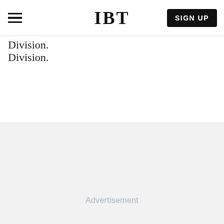IBT | SIGN UP
Division.
Advertisement